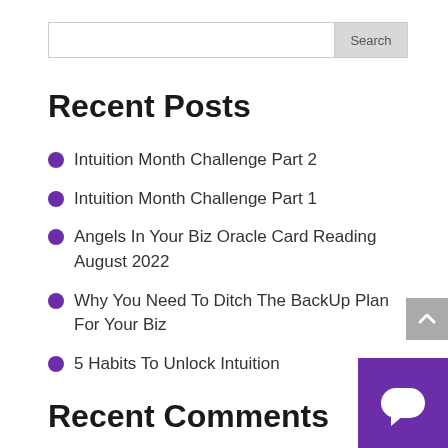Search
Recent Posts
Intuition Month Challenge Part 2
Intuition Month Challenge Part 1
Angels In Your Biz Oracle Card Reading August 2022
Why You Need To Ditch The BackUp Plan For Your Biz
5 Habits To Unlock Intuition
Recent Comments